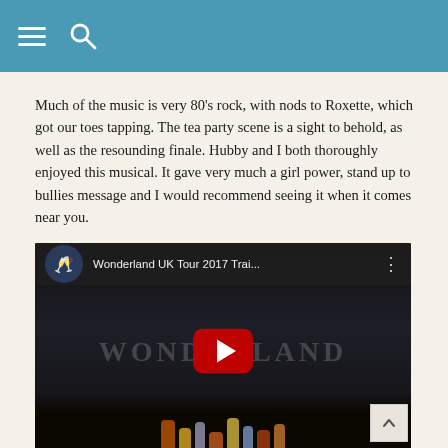Navigation header with hamburger menu and search icon
Much of the music is very 80's rock, with nods to Roxette, which got our toes tapping. The tea party scene is a sight to behold, as well as the resounding finale. Hubby and I both thoroughly enjoyed this musical. It gave very much a girl power, stand up to bullies message and I would recommend seeing it when it comes near you.
[Figure (screenshot): YouTube video thumbnail for 'Wonderland UK Tour 2017 Trai...' showing the Wonderland musical with performers on stage and a YouTube play button overlay]